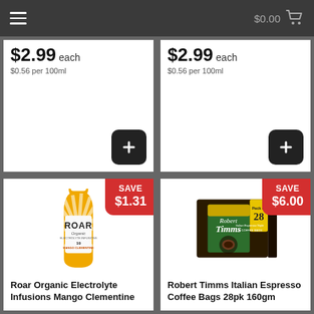$0.00
$2.99 each
$0.56 per 100ml
$2.99 each
$0.56 per 100ml
[Figure (photo): Roar Organic Electrolyte Infusions Mango Clementine bottle with SAVE $1.31 badge]
Roar Organic Electrolyte Infusions Mango Clementine
[Figure (photo): Robert Timms Italian Espresso Coffee Bags 28pk 160gm box with SAVE $6.00 badge]
Robert Timms Italian Espresso Coffee Bags 28pk 160gm